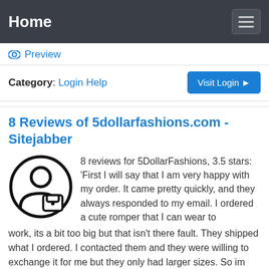Home
Preview
Category: Login Help
8 Reviews of 5dollarfashions.com - Sitejabber
8 reviews for 5DollarFashions, 3.5 stars: 'First I will say that I am very happy with my order. It came pretty quickly, and they always responded to my email. I ordered a cute romper that I can wear to work, its a bit too big but that isn't there fault. They shipped what I ordered. I contacted them and they were willing to exchange it for me but they only had larger sizes. So im just …